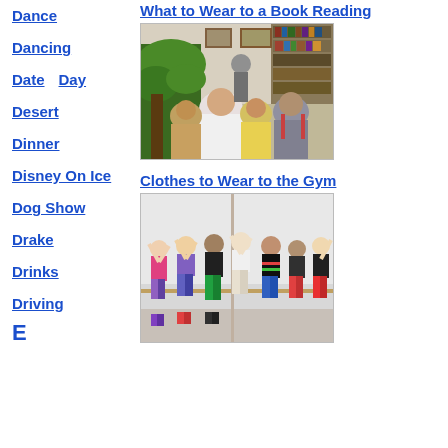Dance
Dancing
Date    Day
Desert
Dinner
Disney On Ice
Dog Show
Drake
Drinks
Driving
E
What to Wear to a Book Reading
[Figure (photo): People sitting at a book reading event in a bookstore, viewed from behind, with a speaker at the front and bookshelves in the background]
Clothes to Wear to the Gym
[Figure (photo): Group of people in colorful 80s-style gym workout clothes posing together in a dance studio or gym setting]